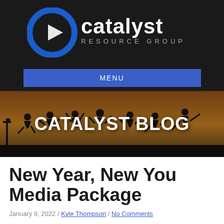[Figure (logo): Catalyst Resource Group logo with blue C icon and white/gray text on dark background]
MENU
[Figure (photo): Silhouette of people dancing/celebrating against a warm orange sunset background]
CATALYST BLOG
New Year, New You Media Package
January 9, 2022 / Kyle Thompson / No Comments